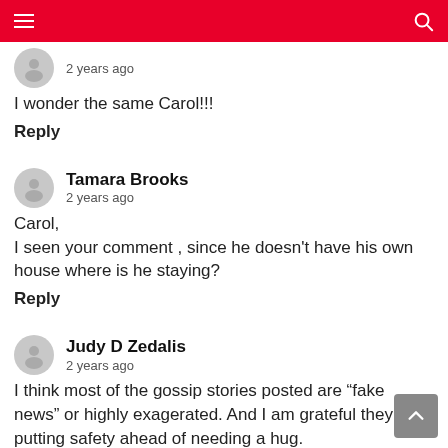2 years ago
I wonder the same Carol!!!
Reply
Tamara Brooks
2 years ago
Carol,
I seen your comment , since he doesn’t have his own house where is he staying?
Reply
Judy D Zedalis
2 years ago
I think most of the gossip stories posted are “fake news” or highly exagerated. And I am grateful they are putting safety ahead of needing a hug.